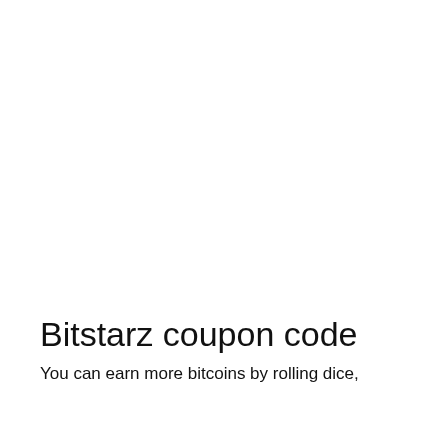Bitstarz coupon code
You can earn more bitcoins by rolling dice,